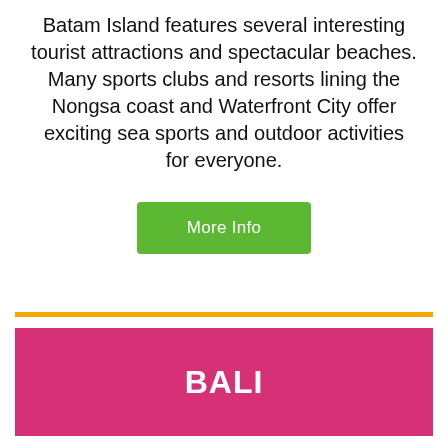Batam Island features several interesting tourist attractions and spectacular beaches. Many sports clubs and resorts lining the Nongsa coast and Waterfront City offer exciting sea sports and outdoor activities for everyone.
[Figure (other): Green 'More Info' button]
BALI